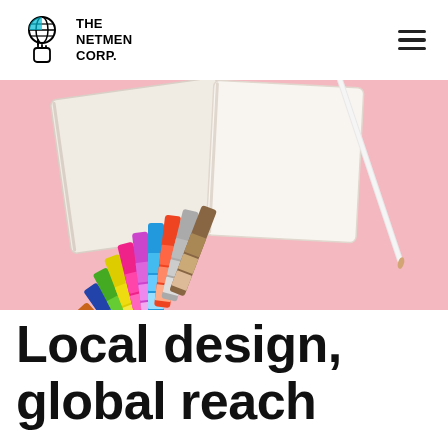THE NETMEN CORP.
[Figure (photo): Flat lay photo on pink background showing Pantone color fan/swatch book spread open, with notebooks and a pencil/stylus visible in the upper portion.]
Local design, global reach